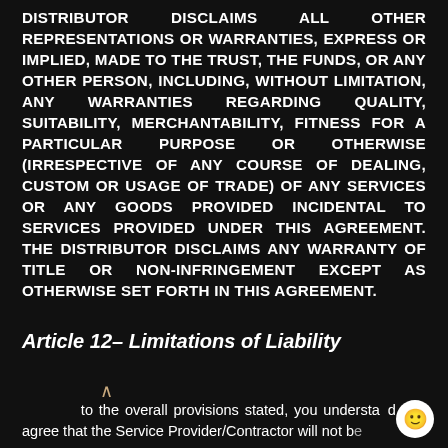DISTRIBUTOR DISCLAIMS ALL OTHER REPRESENTATIONS OR WARRANTIES, EXPRESS OR IMPLIED, MADE TO THE TRUST, THE FUNDS, OR ANY OTHER PERSON, INCLUDING, WITHOUT LIMITATION, ANY WARRANTIES REGARDING QUALITY, SUITABILITY, MERCHANTABILITY, FITNESS FOR A PARTICULAR PURPOSE OR OTHERWISE (IRRESPECTIVE OF ANY COURSE OF DEALING, CUSTOM OR USAGE OF TRADE) OF ANY SERVICES OR ANY GOODS PROVIDED INCIDENTAL TO SERVICES PROVIDED UNDER THIS AGREEMENT. THE DISTRIBUTOR DISCLAIMS ANY WARRANTY OF TITLE OR NON-INFRINGEMENT EXCEPT AS OTHERWISE SET FORTH IN THIS AGREEMENT.
Article 12– Limitations of Liability
to the overall provisions stated, you understand and agree that the Service Provider/Contractor will not be